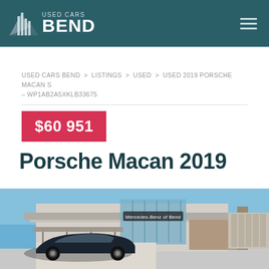USED CARS BEND
USED CARS BEND > LISTINGS > USED > USED 2019 PORSCHE MACAN S – WP1AB2A5XKLB33675
$60 951
Porsche Macan 2019
[Figure (photo): Photo of a dark-colored Porsche Macan SUV parked in front of a Mercedes-Benz of Bend dealership building. Sky is blue, building has glass exterior and stone cladding.]